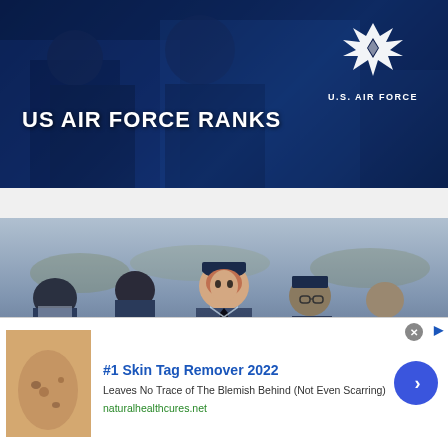[Figure (photo): US Air Force Ranks banner with dark blue background showing uniformed military personnel and US Air Force logo with wings insignia and text 'U.S. AIR FORCE'. Bold white text reads 'US AIR FORCE RANKS'.]
[Figure (photo): Photograph of US Air Force personnel in dark blue dress uniforms with service caps, standing in formation outdoors. A female airman is prominent in the center foreground.]
[Figure (photo): Advertisement: #1 Skin Tag Remover 2022. Shows a skin close-up image. Text: 'Leaves No Trace of The Blemish Behind (Not Even Scarring)'. URL: naturalhealthcures.net. Blue arrow button on right.]